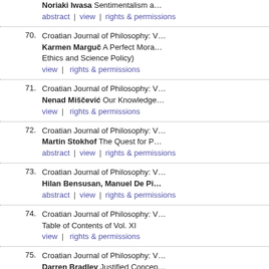Noriaki Iwasa Sentimentalism a... abstract | view | rights & permissions
70. Croatian Journal of Philosophy: V... Karmen Marguč A Perfect Mora... Ethics and Science Policy) view | rights & permissions
71. Croatian Journal of Philosophy: V... Nenad Miščević Our Knowledge... view | rights & permissions
72. Croatian Journal of Philosophy: V... Martin Stokhof The Quest for P... abstract | view | rights & permissions
73. Croatian Journal of Philosophy: V... Hilan Bensusan, Manuel De Pi... abstract | view | rights & permissions
74. Croatian Journal of Philosophy: V... Table of Contents of Vol. XI view | rights & permissions
75. Croatian Journal of Philosophy: V... Darren Bradley Justified Concep... abstract | view | rights & permissions
76. Croatian Journal of Philosophy:...